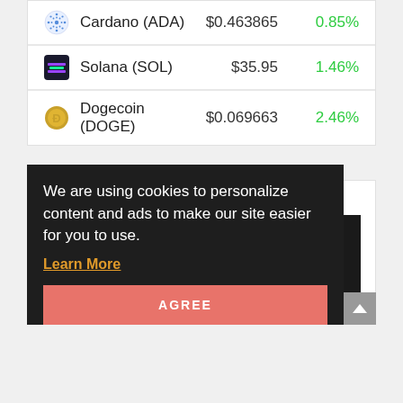|  | Name | Price | Change |
| --- | --- | --- | --- |
| ADA icon | Cardano (ADA) | $0.463865 | 0.85% |
| SOL icon | Solana (SOL) | $35.95 | 1.46% |
| DOGE icon | Dogecoin (DOGE) | $0.069663 | 2.46% |
Advertisements
Media error: Format(s) not supported or source(s) not found
Download File: https://mygeopay.com/wp-content/uploads/2018/06/banking.mp4?_=1
We are using cookies to personalize content and ads to make our site easier for you to use.
Learn More
AGREE